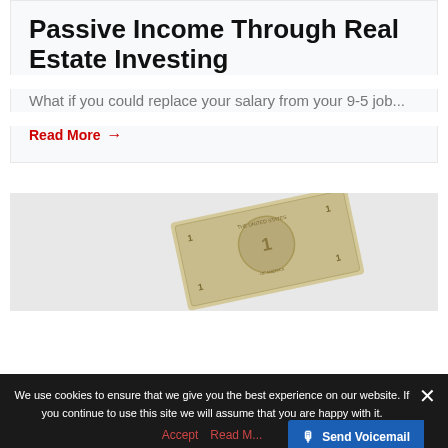Passive Income Through Real Estate Investing
What if you could replace your salary from your 9-5 job...
Read More →
[Figure (photo): A US dollar bill partially visible against a light grey background]
We use cookies to ensure that we give you the best experience on our website. If you continue to use this site we will assume that you are happy with it.
Accept   Read More
Send Voicemail